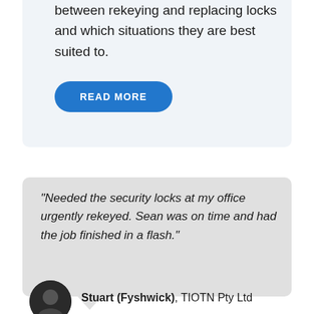between rekeying and replacing locks and which situations they are best suited to.
READ MORE
“Needed the security locks at my office urgently rekeyed. Sean was on time and had the job finished in a flash.”
Stuart (Fyshwick), TIOTN Pty Ltd